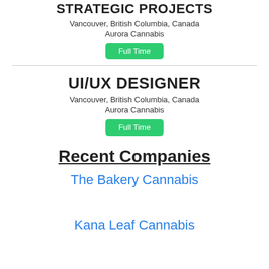STRATEGIC PROJECTS
Vancouver, British Columbia, Canada
Aurora Cannabis
Full Time
UI/UX DESIGNER
Vancouver, British Columbia, Canada
Aurora Cannabis
Full Time
Recent Companies
The Bakery Cannabis
Kana Leaf Cannabis